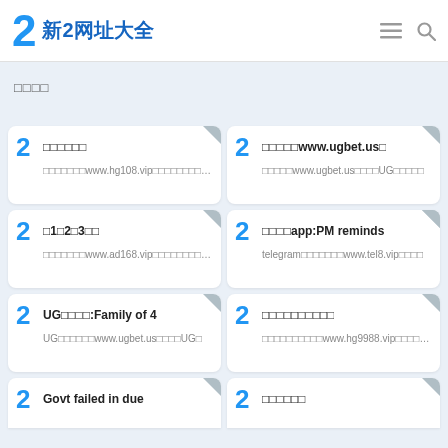2 新2网址大全
□□□□
□□□□□□
□□□□□www.ugbet.us□
□1□2□3□□
□□□□app:PM reminds
UG□□□□:Family of 4
□□□□□□□□□□
Govt failed in due
□□□□□□